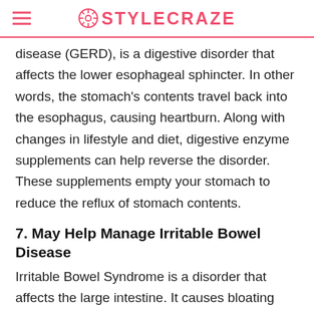STYLECRAZE
disease (GERD), is a digestive disorder that affects the lower esophageal sphincter. In other words, the stomach's contents travel back into the esophagus, causing heartburn. Along with changes in lifestyle and diet, digestive enzyme supplements can help reverse the disorder. These supplements empty your stomach to reduce the reflux of stomach contents.
7. May Help Manage Irritable Bowel Disease
Irritable Bowel Syndrome is a disorder that affects the large intestine. It causes bloating gas and constipation. Since digestive enzyme supplements